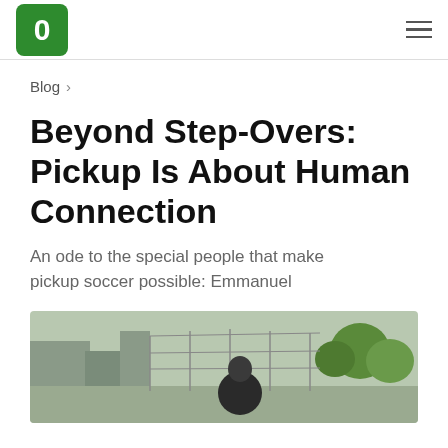O [logo] [hamburger menu]
Blog >
Beyond Step-Overs: Pickup Is About Human Connection
An ode to the special people that make pickup soccer possible: Emmanuel
[Figure (photo): Photo of a person at an outdoor soccer court with trees and buildings in the background]